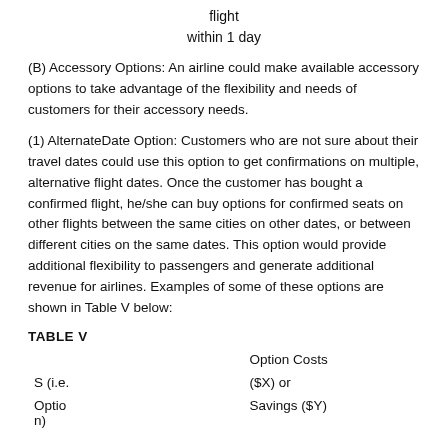flight
within 1 day
(B) Accessory Options: An airline could make available accessory options to take advantage of the flexibility and needs of customers for their accessory needs.
(1) AlternateDate Option: Customers who are not sure about their travel dates could use this option to get confirmations on multiple, alternative flight dates. Once the customer has bought a confirmed flight, he/she can buy options for confirmed seats on other flights between the same cities on other dates, or between different cities on the same dates. This option would provide additional flexibility to passengers and generate additional revenue for airlines. Examples of some of these options are shown in Table V below:
TABLE V
| S (i.e. Option n) | Option Costs ($X) or Savings ($Y) |
| --- | --- |